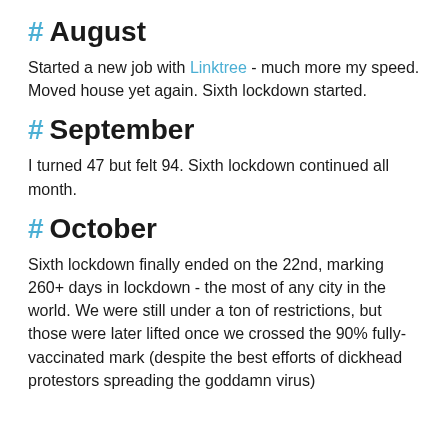# August
Started a new job with Linktree - much more my speed. Moved house yet again. Sixth lockdown started.
# September
I turned 47 but felt 94. Sixth lockdown continued all month.
# October
Sixth lockdown finally ended on the 22nd, marking 260+ days in lockdown - the most of any city in the world. We were still under a ton of restrictions, but those were later lifted once we crossed the 90% fully-vaccinated mark (despite the best efforts of dickhead protestors spreading the goddamn virus)